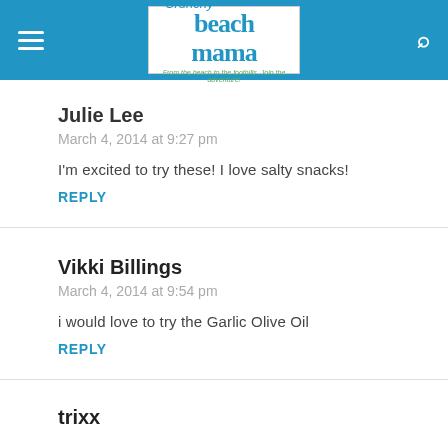Crunchy Beach Mama - From the beach to the foothills. Join the adventure!
Julie Lee
March 4, 2014 at 9:27 pm
I'm excited to try these! I love salty snacks!
REPLY
Vikki Billings
March 4, 2014 at 9:54 pm
i would love to try the Garlic Olive Oil
REPLY
trixx